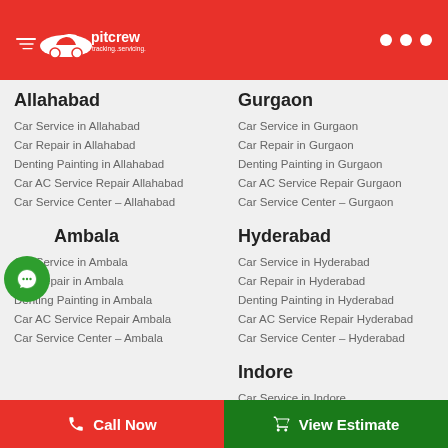[Figure (logo): Pitcrew logo with car icon and text 'pitcrew tracking..servicing..' on red header background]
Allahabad
Car Service in Allahabad
Car Repair in Allahabad
Denting Painting in Allahabad
Car AC Service Repair Allahabad
Car Service Center – Allahabad
Ambala
Car Service in Ambala
Car Repair in Ambala
Denting Painting in Ambala
Car AC Service Repair Ambala
Car Service Center – Ambala
Gurgaon
Car Service in Gurgaon
Car Repair in Gurgaon
Denting Painting in Gurgaon
Car AC Service Repair Gurgaon
Car Service Center – Gurgaon
Hyderabad
Car Service in Hyderabad
Car Repair in Hyderabad
Denting Painting in Hyderabad
Car AC Service Repair Hyderabad
Car Service Center – Hyderabad
Indore
Car Service in Indore
Car Repair in Indore
Denting Painting in Indore
Call Now   View Estimate